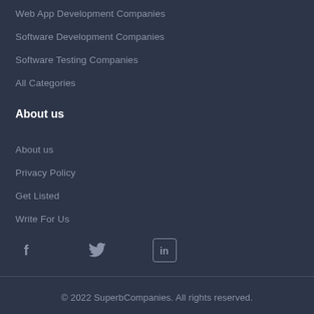Web App Development Companies
Software Development Companies
Software Testing Companies
All Categories
About us
About us
Privacy Policy
Get Listed
Write For Us
[Figure (illustration): Social media icons: Facebook (f), Twitter (bird), LinkedIn (in)]
© 2022 SuperbCompanies. All rights reserved.